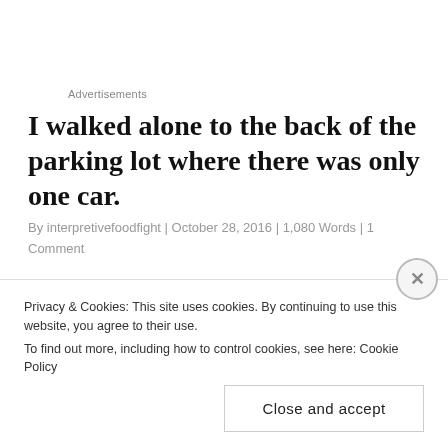Advertisements
I walked alone to the back of the parking lot where there was only one car.
By interpretivefoodfight | October 28, 2016 | 1,080 Words | 1 Comment
Privacy & Cookies: This site uses cookies. By continuing to use this website, you agree to their use.
To find out more, including how to control cookies, see here: Cookie Policy
Close and accept